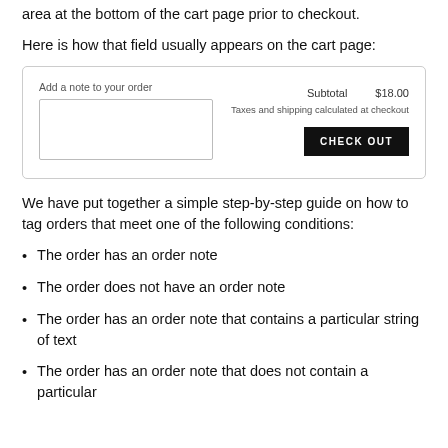deliver an order. Order notes are usually captured via a text input area at the bottom of the cart page prior to checkout.
Here is how that field usually appears on the cart page:
[Figure (screenshot): Screenshot of a cart page UI showing a 'Add a note to your order' textarea on the left, and on the right: Subtotal $18.00, 'Taxes and shipping calculated at checkout', and a dark CHECK OUT button.]
We have put together a simple step-by-step guide on how to tag orders that meet one of the following conditions:
The order has an order note
The order does not have an order note
The order has an order note that contains a particular string of text
The order has an order note that does not contain a particular string of text